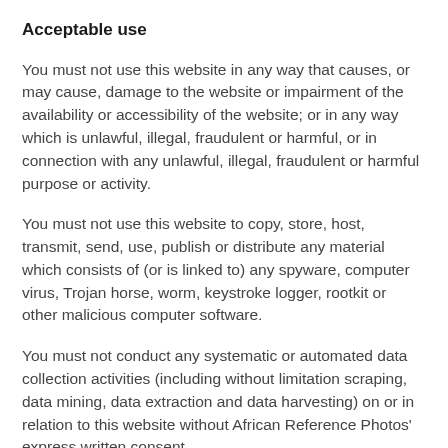Acceptable use
You must not use this website in any way that causes, or may cause, damage to the website or impairment of the availability or accessibility of the website; or in any way which is unlawful, illegal, fraudulent or harmful, or in connection with any unlawful, illegal, fraudulent or harmful purpose or activity.
You must not use this website to copy, store, host, transmit, send, use, publish or distribute any material which consists of (or is linked to) any spyware, computer virus, Trojan horse, worm, keystroke logger, rootkit or other malicious computer software.
You must not conduct any systematic or automated data collection activities (including without limitation scraping, data mining, data extraction and data harvesting) on or in relation to this website without African Reference Photos' express written consent.
You are expressly prohibited from compiling and using other Users' personal information, including addresses, telephone numbers, email addresses or other contact information that may appear on the website, for the purpose of creating or compiling marketing